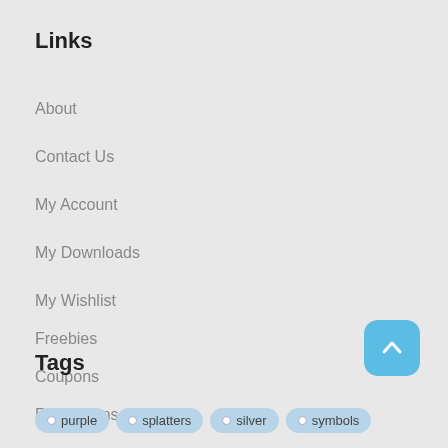Links
About
Contact Us
My Account
My Downloads
My Wishlist
Freebies
Coupons
Restrictions
Tags
purple
splatters
silver
symbols